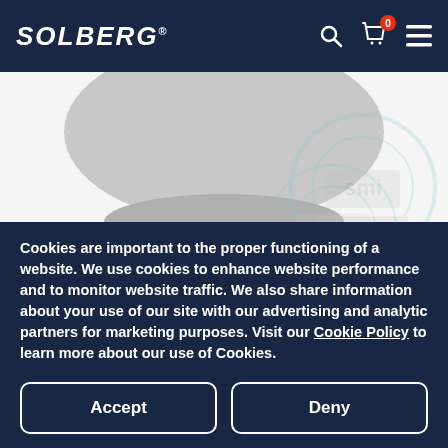SOLBERG® [navigation with search, cart (0), menu icons]
[Figure (photo): Product image area showing a gray cylindrical filter element on white background, with carousel navigation arrows and 5 pagination dots (first dot active). SMI logo watermark visible on the right.]
[Figure (logo): Solberg brand logo with SMI icon on white background (partially visible behind cookie overlay)]
Cookies are important to the proper functioning of a website. We use cookies to enhance website performance and to monitor website traffic. We also share information about your use of our site with our advertising and analytic partners for marketing purposes. Visit our Cookie Policy to learn more about our use of Cookies.
Accept
Deny